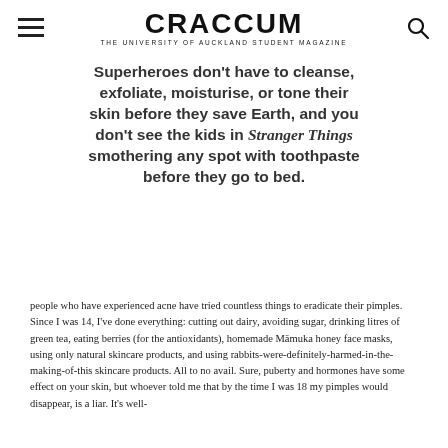CRACCUM — THE UNIVERSITY OF AUCKLAND STUDENT MAGAZINE
Superheroes don't have to cleanse, exfoliate, moisturise, or tone their skin before they save Earth, and you don't see the kids in Stranger Things smothering any spot with toothpaste before they go to bed.
people who have experienced acne have tried countless things to eradicate their pimples. Since I was 14, I've done everything: cutting out dairy, avoiding sugar, drinking litres of green tea, eating berries (for the antioxidants), homemade Māmuka honey face masks, using only natural skincare products, and using rabbits-were-definitely-harmed-in-the-making-of-this skincare products. All to no avail. Sure, puberty and hormones have some effect on your skin, but whoever told me that by the time I was 18 my pimples would disappear, is a liar. It's well-